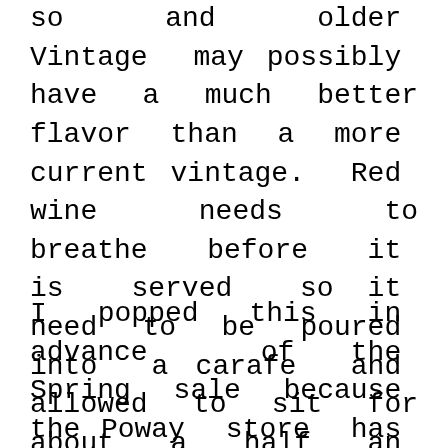so and older Vintage may possibly have a much better flavor than a more current vintage. Red wine needs to breathe before it is served so it need to be poured into a carafe and allowed to sit for about a half an hour prior to serving. You can also use wide wine glasses to enable the wine to breathe a tiny prior to serving.
I popped this in advance of the Spring sale because the Poway store has both the 2016 of their Estate Malbec for $6.99 and the 2015